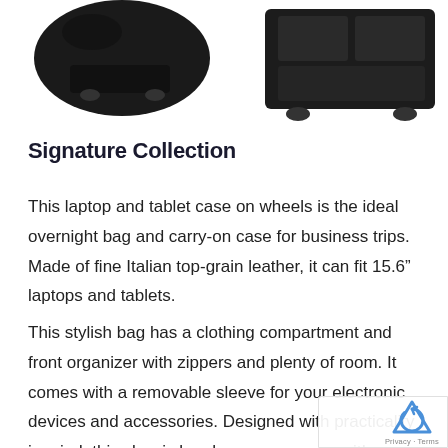[Figure (photo): Two product photos of a black leather rolling laptop/tablet case on wheels. Left image shows the bag from the front/side angle. Right image shows the bottom of the bag with wheels visible.]
Signature Collection
This laptop and tablet case on wheels is the ideal overnight bag and carry-on case for business trips. Made of fine Italian top-grain leather, it can fit 15.6” laptops and tablets.
This stylish bag has a clothing compartment and front organizer with zippers and plenty of room. It comes with a removable sleeve for your electronic devices and accessories. Designed with practicality in mind, this classic bag has your name on it!